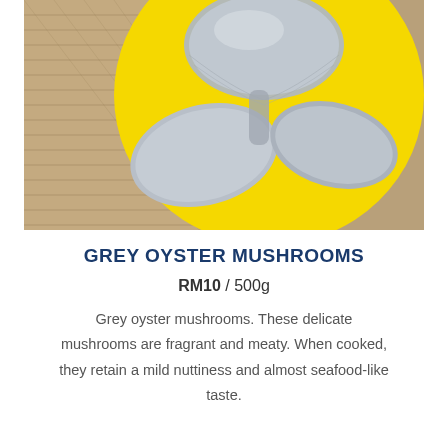[Figure (photo): Close-up photo of grey oyster mushrooms arranged on a bright yellow plate, with a woven straw mat visible in the background.]
GREY OYSTER MUSHROOMS
RM10 / 500g
Grey oyster mushrooms. These delicate mushrooms are fragrant and meaty. When cooked, they retain a mild nuttiness and almost seafood-like taste.